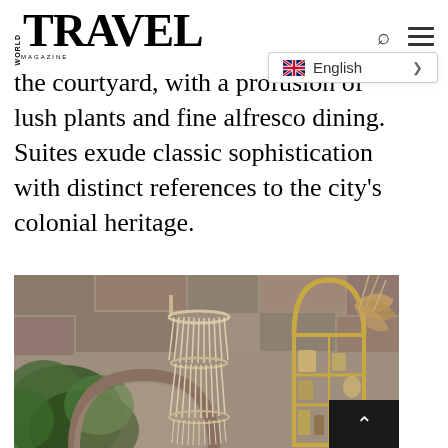WORLD TRAVEL MAGAZINE — navigation header with search and menu icons, English language selector dropdown
the courtyard, with a profusion of lush plants and fine alfresco dining. Suites exude classic sophistication with distinct references to the city's colonial heritage.
[Figure (photo): Interior courtyard photo showing a macramé/tassel chandelier hanging in front of a stone arch wall covered with lush green plants, and on the right side a golden metal shelving unit with decorative items, dried pampas grass, and rattan fan.]